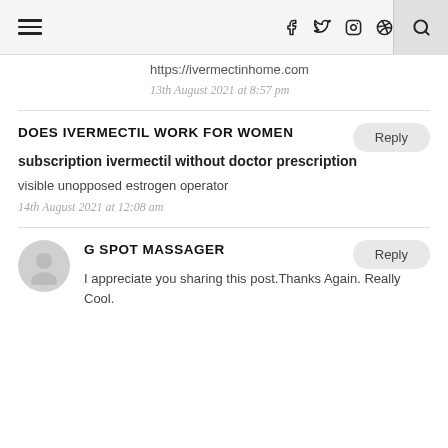Navigation and social icons bar
https://ivermectinhome.com
13th August 2021 at 8:57 pm
DOES IVERMECTIL WORK FOR WOMEN
subscription ivermectil without doctor prescription
visible unopposed estrogen operator
14th August 2021 at 12:08 am
G SPOT MASSAGER
I appreciate you sharing this post.Thanks Again. Really Cool.